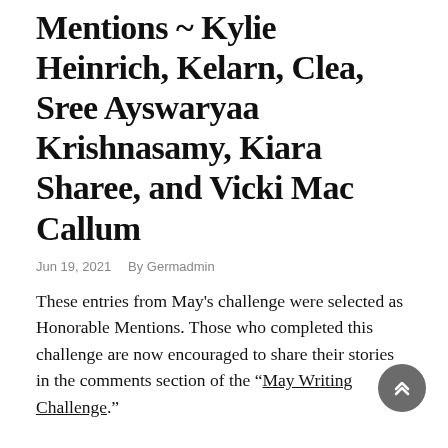Mentions ~ Kylie Heinrich, Kelarn, Clea, Sree Ayswaryaa Krishnasamy, Kiara Sharee, and Vicki Mac Callum
Jun 19, 2021   By Germadmin
These entries from May's challenge were selected as Honorable Mentions. Those who completed this challenge are now encouraged to share their stories in the comments section of the “May Writing Challenge.”
Kylie Heinrich, 16, United States